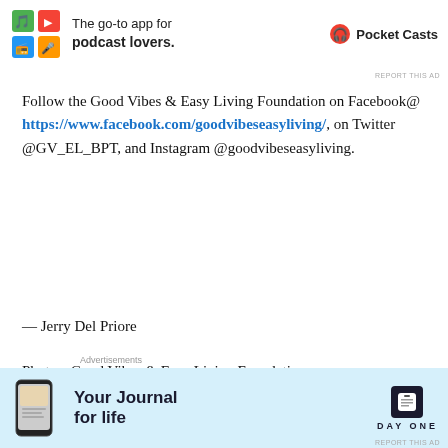[Figure (other): Pocket Casts app advertisement banner at top with colorful logo and text 'The go-to app for podcast lovers.']
REPORT THIS AD
Follow the Good Vibes & Easy Living Foundation on Facebook@ https://www.facebook.com/goodvibeseasyliving/, on Twitter @GV_EL_BPT, and Instagram @goodvibeseasyliving.
— Jerry Del Priore
Photos: Good Vibes & Easy Living Foundation.
Advertisements
[Figure (other): Dark blue advertisement with white bold text reading 'Create surveys, polls, quizzes,']
Advertisements
[Figure (other): Day One app advertisement with light blue background, phone graphic, and text 'Your Journal for life']
REPORT THIS AD